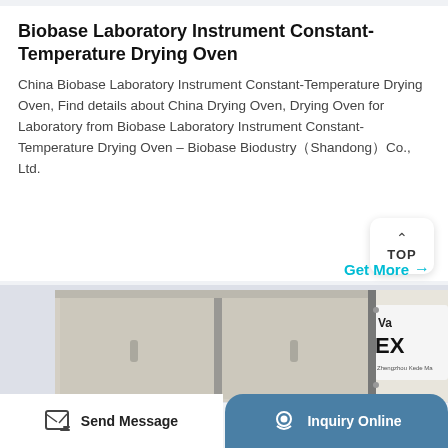Biobase Laboratory Instrument Constant-Temperature Drying Oven
China Biobase Laboratory Instrument Constant-Temperature Drying Oven, Find details about China Drying Oven, Drying Oven for Laboratory from Biobase Laboratory Instrument Constant-Temperature Drying Oven - Biobase Biodustry (Shandong) Co., Ltd.
Get More →
[Figure (photo): Photo of laboratory drying ovens: a beige/cream colored constant-temperature drying oven on the left and a partial view of a vacuum drying oven (labeled 'Va... EX...') on the right.]
Send Message
Inquiry Online